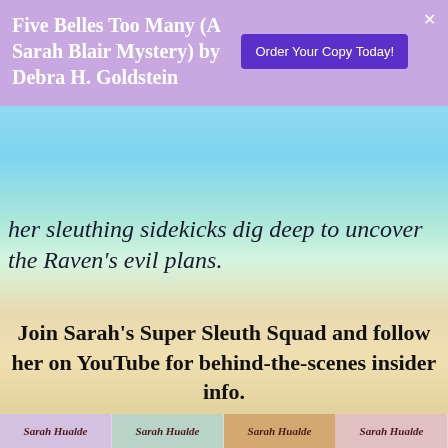Five Belles Too Many (A Sarah Blair Mystery) by Debra H. Goldstein   Order Your Copy Today!
her sleuthing sidekicks dig deep to uncover the Raven's evil plans.
Join Sarah's Super Sleuth Squad and follow her on YouTube for behind-the-scenes insider info.
Privacy & Cookies: This site uses cookies. By continuing to use this website, you agree to their use.
To find out more, including how to control cookies, see here:
Cookie Policy
Sarah Hualde   Sarah Hualde   Sarah Hualde   Sarah Hualde